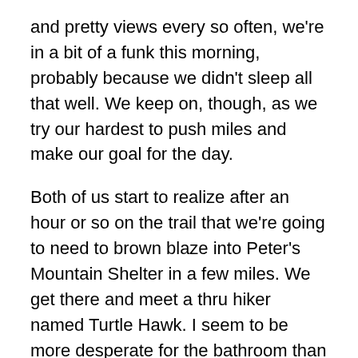and pretty views every so often, we're in a bit of a funk this morning, probably because we didn't sleep all that well. We keep on, though, as we try our hardest to push miles and make our goal for the day.
Both of us start to realize after an hour or so on the trail that we're going to need to brown blaze into Peter's Mountain Shelter in a few miles. We get there and meet a thru hiker named Turtle Hawk. I seem to be more desperate for the bathroom than BAM! at this very moment, so I rush over to the privy. When I get back, Turtle Hawk and BAM! are talking about a game, something that sounds a lot to me like Dungeons and Dragons. It turns out that Turtle Hawk is working on creating a game akin to Dungeons and Dragons, but specifically for thru hikers. He asks us if we'd like to join and be characters in this game and we say yes.